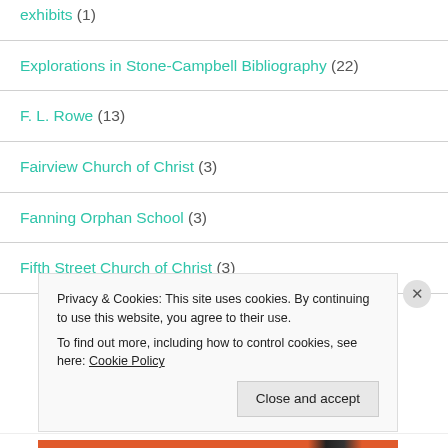exhibits (1)
Explorations in Stone-Campbell Bibliography (22)
F. L. Rowe (13)
Fairview Church of Christ (3)
Fanning Orphan School (3)
Fifth Street Church of Christ (3)
Privacy & Cookies: This site uses cookies. By continuing to use this website, you agree to their use.
To find out more, including how to control cookies, see here: Cookie Policy
Close and accept